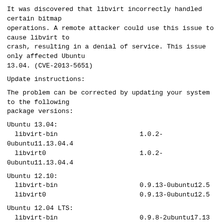It was discovered that libvirt incorrectly handled certain bitmap
operations. A remote attacker could use this issue to cause libvirt to
crash, resulting in a denial of service. This issue only affected Ubuntu
13.04. (CVE-2013-5651)
Update instructions:
The problem can be corrected by updating your system to the following
package versions:
Ubuntu 13.04:
  libvirt-bin                     1.0.2-0ubuntu11.13.04.4
  libvirt0                        1.0.2-0ubuntu11.13.04.4
Ubuntu 12.10:
  libvirt-bin                     0.9.13-0ubuntu12.5
  libvirt0                        0.9.13-0ubuntu12.5
Ubuntu 12.04 LTS:
  libvirt-bin                     0.9.8-2ubuntu17.13
  libvirt0                        0.9.8-2ubuntu17.13
Ubuntu 10.04 LTS:
  libvirt-bin                     0.7.5-5ubuntu27.24
  libvirt0                        0.7.5-5ubuntu27.24